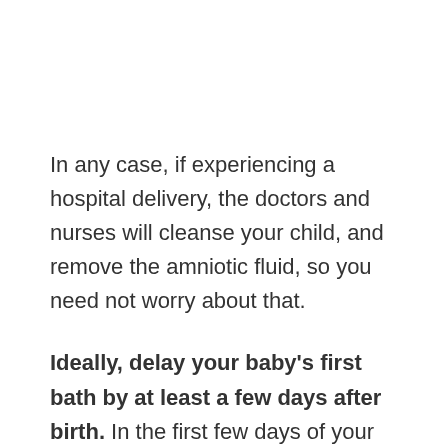In any case, if experiencing a hospital delivery, the doctors and nurses will cleanse your child, and remove the amniotic fluid, so you need not worry about that.
Ideally, delay your baby's first bath by at least a few days after birth. In the first few days of your newborn's life, skin-to-skin contact with the mother